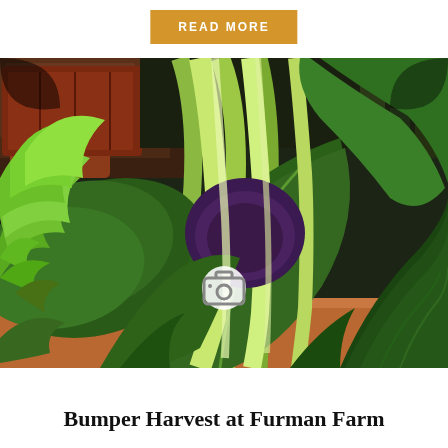READ MORE
[Figure (photo): Close-up photograph of a bountiful harvest of leafy green vegetables including lettuce, bok choy, and kale/collard greens, held in someone's arms against a dark background with terracotta pots visible.]
Bumper Harvest at Furman Farm